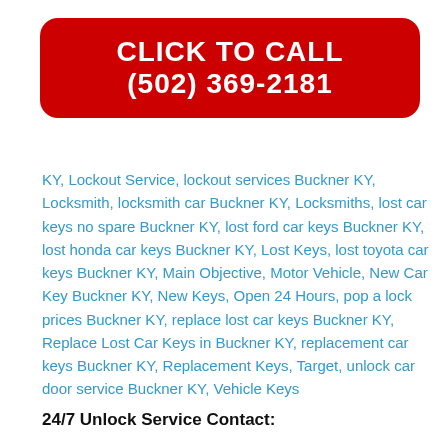[Figure (other): Red rounded rectangle click-to-call banner with white bold text: CLICK TO CALL (502) 369-2181]
KY, Lockout Service, lockout services Buckner KY, Locksmith, locksmith car Buckner KY, Locksmiths, lost car keys no spare Buckner KY, lost ford car keys Buckner KY, lost honda car keys Buckner KY, Lost Keys, lost toyota car keys Buckner KY, Main Objective, Motor Vehicle, New Car Key Buckner KY, New Keys, Open 24 Hours, pop a lock prices Buckner KY, replace lost car keys Buckner KY, Replace Lost Car Keys in Buckner KY, replacement car keys Buckner KY, Replacement Keys, Target, unlock car door service Buckner KY, Vehicle Keys
24/7 Unlock Service Contact: